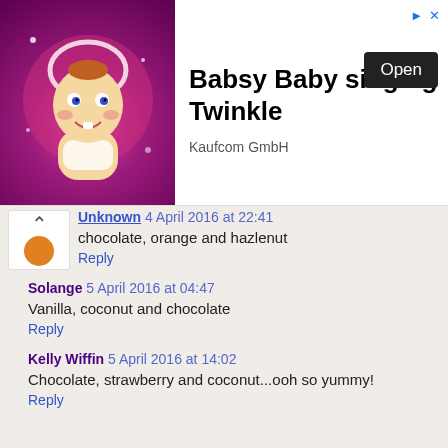[Figure (screenshot): Advertisement banner for 'Babsy Baby singing Twinkle' by Kaufcom GmbH with a cartoon baby image on a pink background, an Open button, and navigation arrow icons.]
Unknown 4 April 2016 at 22:41
chocolate, orange and hazlenut
Reply
Solange 5 April 2016 at 04:47
Vanilla, coconut and chocolate
Reply
Kelly Wiffin 5 April 2016 at 14:02
Chocolate, strawberry and coconut...ooh so yummy!
Reply